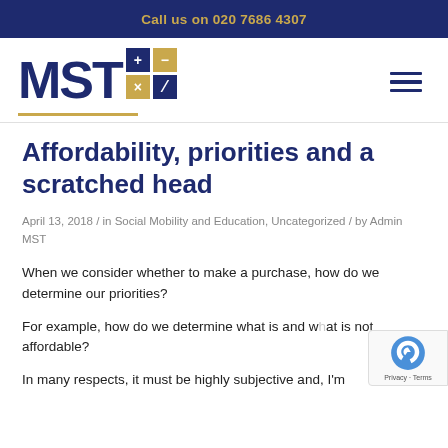Call us on 020 7686 4307
[Figure (logo): MST logo with calculator grid symbols and gold underline, hamburger menu icon on right]
Affordability, priorities and a scratched head
April 13, 2018 / in Social Mobility and Education, Uncategorized / by Admin MST
When we consider whether to make a purchase, how do we determine our priorities?
For example, how do we determine what is and what is not affordable?
In many respects, it must be highly subjective and, I'm